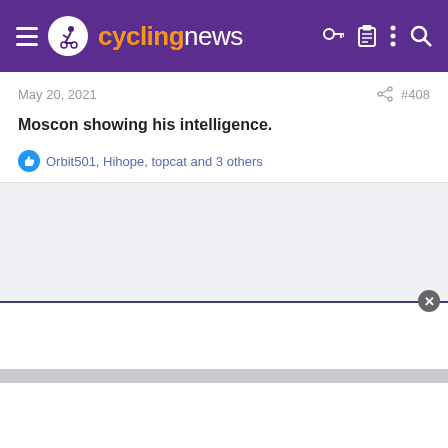cyclingnews
May 20, 2021
#408
Moscon showing his intelligence.
Orbit501, Hihope, topcat and 3 others
[Figure (other): Gray background area below post content, representing additional page content or advertisement space with a close button overlay]